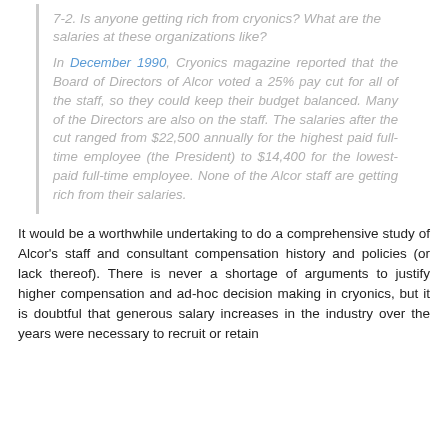7-2. Is anyone getting rich from cryonics? What are the salaries at these organizations like?
In December 1990, Cryonics magazine reported that the Board of Directors of Alcor voted a 25% pay cut for all of the staff, so they could keep their budget balanced. Many of the Directors are also on the staff. The salaries after the cut ranged from $22,500 annually for the highest paid full-time employee (the President) to $14,400 for the lowest-paid full-time employee. None of the Alcor staff are getting rich from their salaries.
It would be a worthwhile undertaking to do a comprehensive study of Alcor's staff and consultant compensation history and policies (or lack thereof). There is never a shortage of arguments to justify higher compensation and ad-hoc decision making in cryonics, but it is doubtful that generous salary increases in the industry over the years were necessary to recruit or retain